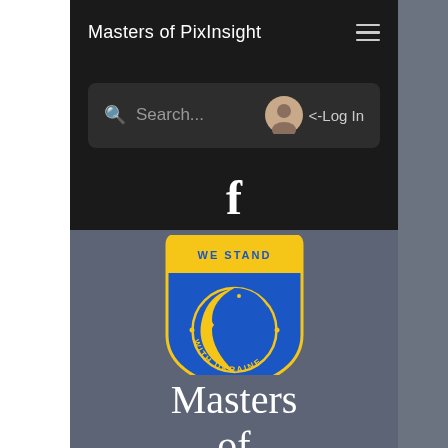Masters of PixInsight
[Figure (screenshot): Navigation bar with search field showing 'Search...' placeholder, user avatar icon, and '<-Log In' text on dark background]
[Figure (logo): Facebook 'f' logo in white on dark background]
[Figure (logo): Shield-shaped badge with 'WE STAND WITH UKRAINE' text, blue and yellow colors, featuring a bird silhouette in a yin-yang style circle]
Masters of